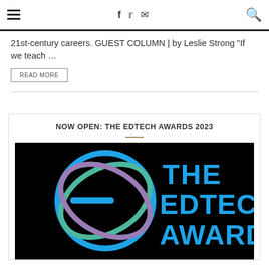Navigation header with hamburger menu, social icons (f, Twitter, mail), and search icon
21st-century careers. GUEST COLUMN | by Leslie Strong "If we teach …
READ MORE
NOW OPEN: THE EDTECH AWARDS 2023
[Figure (logo): The EdTech Awards logo on a black background: a stylized 'e' made of overlapping colored circles (blue, green, purple) and the text 'THE EDTECH AWARDS' in blue]